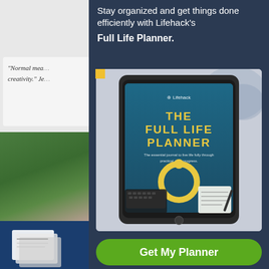Stay organized and get things done efficiently with Lifehack's Full Life Planner.
[Figure (illustration): Tablet displaying The Full Life Planner book cover — dark blue cover with gold title text 'THE FULL LIFE PLANNER', Lifehack logo, circular ring icon in gold, and small text. Tablet is shown against a light background with papers and a laptop keyboard visible.]
Get My Planner